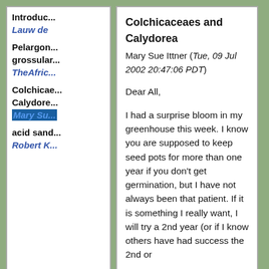Introduc... Lauw de
Pelargon... grossular... TheAfric...
Colchicae... Calydore... Mary Su...
acid sand... Robert K...
Colchicaceaes and Calydorea
Mary Sue Ittner (Tue, 09 Jul 2002 20:47:06 PDT)
Dear All,

I had a surprise bloom in my greenhouse this week. I know you are supposed to keep seed pots for more than one year if you don't get germination, but I have not always been that patient. If it is something I really want, I will try a 2nd year (or if I know others have had success the 2nd or